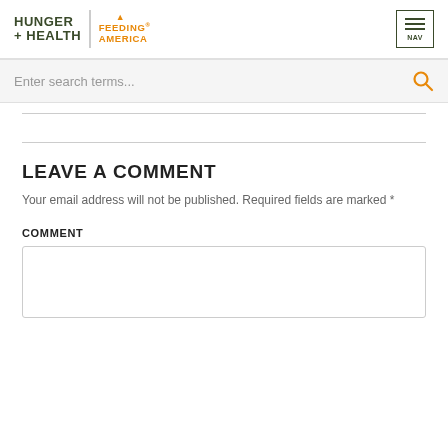HUNGER + HEALTH | FEEDING AMERICA NAV
Enter search terms...
LEAVE A COMMENT
Your email address will not be published. Required fields are marked *
COMMENT